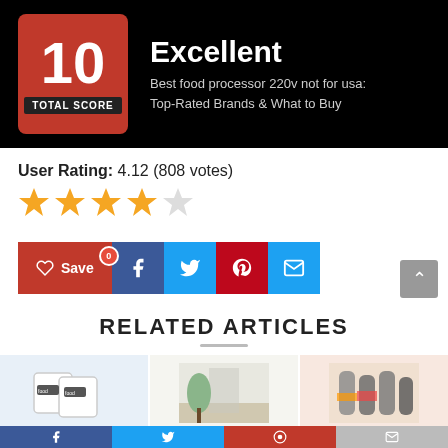[Figure (screenshot): Score banner with red score box showing '10 TOTAL SCORE', title 'Excellent' and subtitle 'Best food processor 220v not for usa: Top-Rated Brands & What to Buy' on black background]
User Rating: 4.12 (808 votes)
[Figure (infographic): 4 out of 5 stars rating in orange/gold color]
[Figure (infographic): Social sharing buttons: Save (red), Facebook (dark blue), Twitter (light blue), Pinterest (red), Email (light blue)]
RELATED ARTICLES
[Figure (photo): Three related article thumbnail images at the bottom of the page]